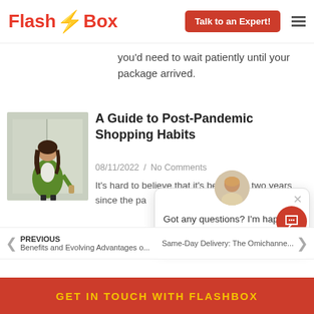FlashBox — Talk to an Expert!
you'd need to wait patiently until your package arrived.
A Guide to Post-Pandemic Shopping Habits
08/11/2022 / No Comments
It's hard to believe that it's been over two years since the pandemic began. This new... everything...
[Figure (photo): Woman in green jacket near elevator doors holding a coffee cup]
Got any questions? I'm happy to help.
PREVIOUS Benefits and Evolving Advantages o... | Same-Day Delivery: The Omichanne...
GET IN TOUCH WITH FLASHBOX